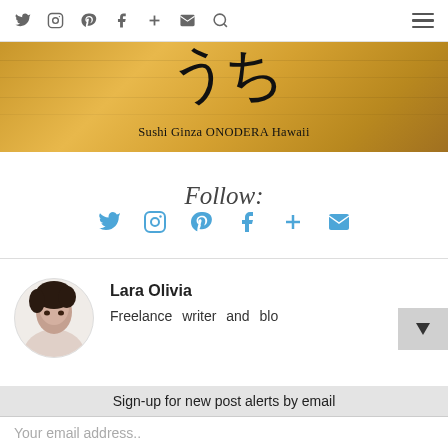Navigation bar with social icons and hamburger menu
[Figure (photo): Sushi Ginza ONODERA Hawaii restaurant banner with Japanese kanji logo on wooden background]
Follow:
[Figure (infographic): Social media follow icons: Twitter, Instagram, Pinterest, Facebook, plus, email]
[Figure (photo): Author avatar photo of Lara Olivia]
Lara Olivia
Freelance writer and blo
Sign-up for new post alerts by email
Your email address..
SUBSCRIBE